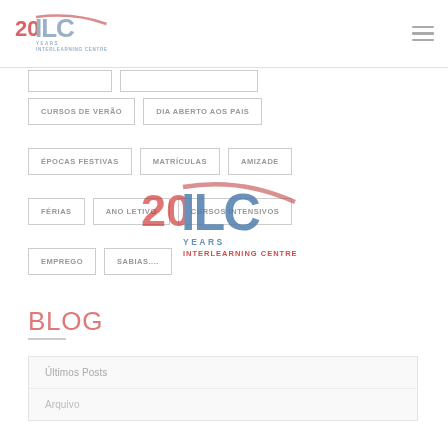ILC Interlearning Centre logo and navigation
CURSOS DE VERÃO
DIA ABERTO AOS PAIS
ÉPOCAS FESTIVAS
MATRÍCULAS
AMIZADE
FÉRIAS
ANO LETIVO
CURSOS INTENSIVOS
EMPREGO
SABIAS....
[Figure (logo): ILC 20 Years Interlearning Centre logo watermark overlay]
BLOG
Últimos Posts
Arquivo